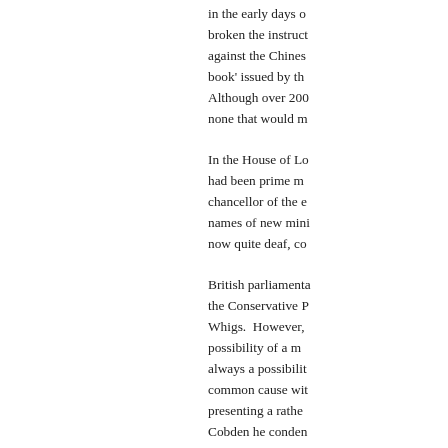in the early days broken the instructions against the Chinese book' issued by the Although over 200 none that would m...
In the House of Lords had been prime minister chancellor of the exchequer names of new ministers now quite deaf, co...
British parliamentary the Conservative Party Whigs. However, possibility of a mu always a possibility common cause with presenting a rather Cobden he condemned be a man of great Canton he is poss into Canton. I believe in the middle of th any sacrifice too almost to be regre from the fact that...